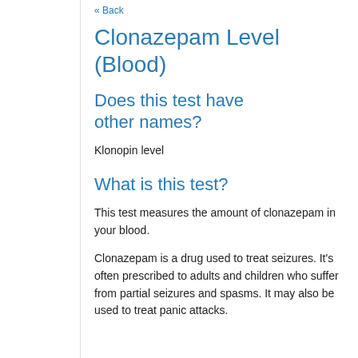« Back
Clonazepam Level (Blood)
Does this test have other names?
Klonopin level
What is this test?
This test measures the amount of clonazepam in your blood.
Clonazepam is a drug used to treat seizures. It's often prescribed to adults and children who suffer from partial seizures and spasms. It may also be used to treat panic attacks.